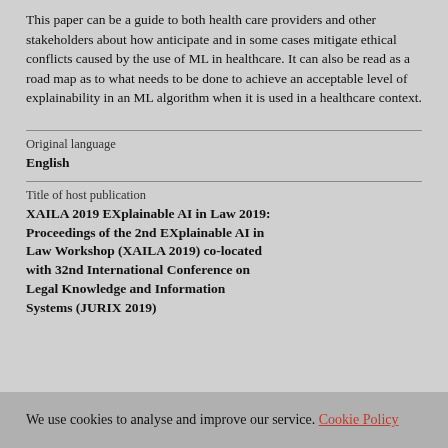This paper can be a guide to both health care providers and other stakeholders about how anticipate and in some cases mitigate ethical conflicts caused by the use of ML in healthcare. It can also be read as a road map as to what needs to be done to achieve an acceptable level of explainability in an ML algorithm when it is used in a healthcare context.
Original language
English
Title of host publication
XAILA 2019 EXplainable AI in Law 2019: Proceedings of the 2nd EXplainable AI in Law Workshop (XAILA 2019) co-located with 32nd International Conference on Legal Knowledge and Information Systems (JURIX 2019)
We use cookies to analyse and improve our service. Cookie Policy